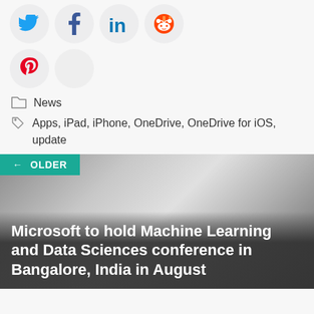[Figure (illustration): Social media sharing icons in circles: Twitter (blue bird), Facebook (blue f), LinkedIn (blue in), Reddit (orange alien), Pinterest (red P), and one empty/ghost circle]
News
Apps, iPad, iPhone, OneDrive, OneDrive for iOS, update
[Figure (illustration): Navigation card with teal 'OLDER' button and dark overlay image with title: Microsoft to hold Machine Learning and Data Sciences conference in Bangalore, India in August]